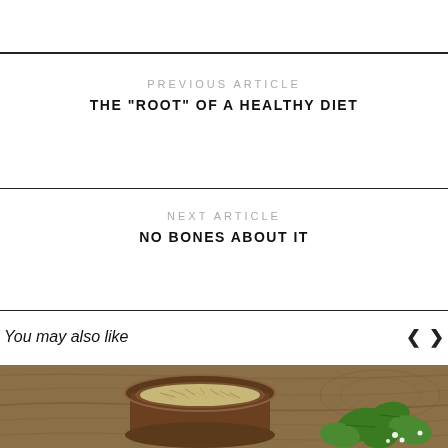PREVIOUS ARTICLE
THE "ROOT" OF A HEALTHY DIET
NEXT ARTICLE
NO BONES ABOUT IT
You may also like
[Figure (photo): Wooden mortar and pestle bowl filled with dried herbs, with fresh green leafy herbs beside it, on a rustic wooden background]